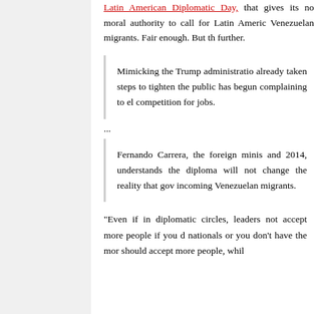Latin American Diplomatic Day, that gives its no moral authority to call for Latin America Venezuelan migrants. Fair enough. But th further.
Mimicking the Trump administration, already taken steps to tighten the public has begun complaining to el competition for jobs.
...
Fernando Carrera, the foreign minis and 2014, understands the diploma will not change the reality that gov incoming Venezuelan migrants.
“Even if in diplomatic circles, leaders not accept more people if you d nationals or you don’t have the mor should accept more people, whil